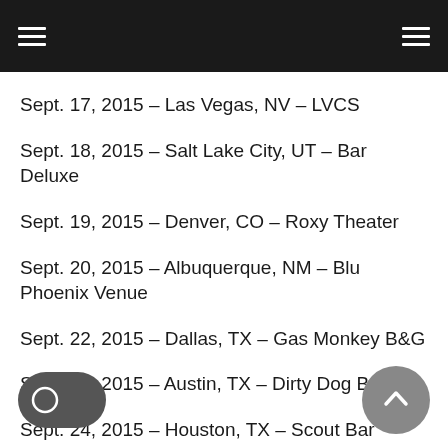Navigation menu header bar
Sept. 17, 2015 – Las Vegas, NV – LVCS
Sept. 18, 2015 – Salt Lake City, UT – Bar Deluxe
Sept. 19, 2015 – Denver, CO – Roxy Theater
Sept. 20, 2015 – Albuquerque, NM – Blu Phoenix Venue
Sept. 22, 2015 – Dallas, TX – Gas Monkey B&G
Sept. 23, 2015 – Austin, TX – Dirty Dog Bar
Sept. 24, 2015 – Houston, TX – Scout Bar
Sept. 27, 2015 – Fayetteville, NC – Drunk Horse Pub